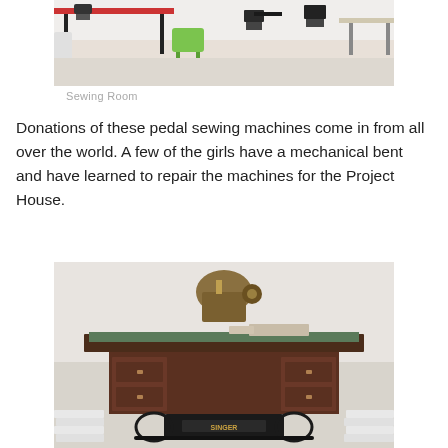[Figure (photo): A sewing room with tables, black pedal sewing machines, and a green plastic chair on a light floor.]
Sewing Room
Donations of these pedal sewing machines come in from all over the world. A few of the girls have a mechanical bent and have learned to repair the machines for the Project House.
[Figure (photo): A vintage Singer pedal sewing machine with a dark wooden cabinet and ornate cast iron base, with stacked white plates visible on the sides.]